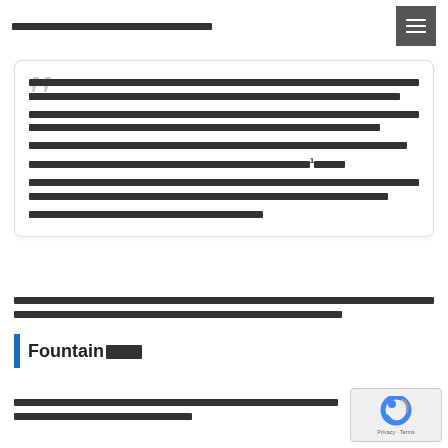Thai language navigation header with hamburger menu
Quoted block text in Thai language with superscript 1
Thai language body text paragraph
Fountain████
Thai language body text